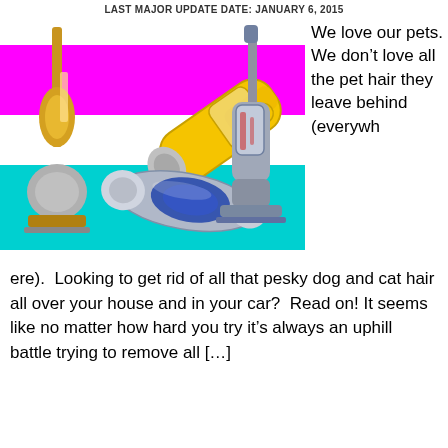LAST MAJOR UPDATE DATE: JANUARY 6, 2015
[Figure (photo): Three vacuum cleaners arranged on a background of horizontal magenta and cyan stripes. Left: a gold/silver upright Dyson-style ball vacuum. Center-top: a yellow handheld vacuum tilted diagonally. Center-bottom: a silver and blue compact handheld vacuum. Right: a grey/blue upright vacuum cleaner.]
We love our pets. We don't love all the pet hair they leave behind (everywhere).  Looking to get rid of all that pesky dog and cat hair all over your house and in your car?  Read on! It seems like no matter how hard you try it’s always an uphill battle trying to remove all […]